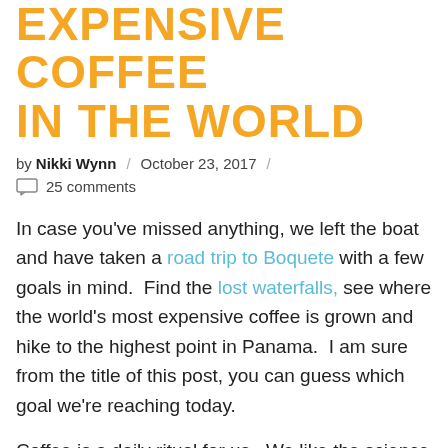EXPENSIVE COFFEE IN THE WORLD
by Nikki Wynn / October 23, 2017 /
25 comments
In case you've missed anything, we left the boat and have taken a road trip to Boquete with a few goals in mind.  Find the lost waterfalls, see where the world's most expensive coffee is grown and hike to the highest point in Panama.  I am sure from the title of this post, you can guess which goal we're reaching today.
Coffee is a daily ritual for us.  We like the science behind making the perfect cup, along with all the different brewing methods, almost as much as we enjoy